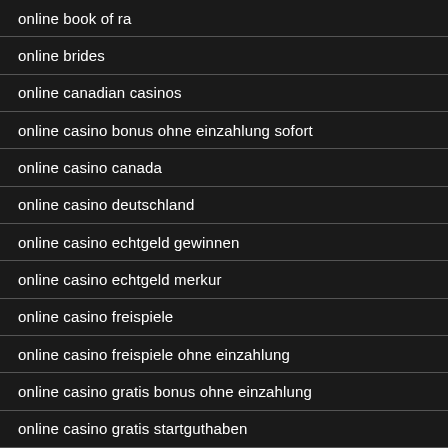online book of ra
online brides
online canadian casinos
online casino bonus ohne einzahlung sofort
online casino canada
online casino deutschland
online casino echtgeld gewinnen
online casino echtgeld merkur
online casino freispiele
online casino freispiele ohne einzahlung
online casino gratis bonus ohne einzahlung
online casino gratis startguthaben